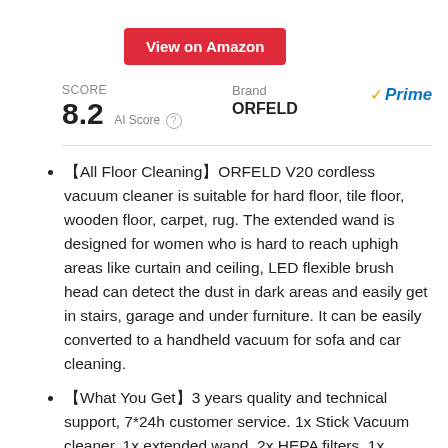View on Amazon
SCORE
8.2 AI Score
Brand
ORFELD
Prime
【All Floor Cleaning】ORFELD V20 cordless vacuum cleaner is suitable for hard floor, tile floor, wooden floor, carpet, rug. The extended wand is designed for women who is hard to reach uphigh areas like curtain and ceiling, LED flexible brush head can detect the dust in dark areas and easily get in stairs, garage and under furniture. It can be easily converted to a handheld vacuum for sofa and car cleaning.
【What You Get】3 years quality and technical support, 7*24h customer service. 1x Stick Vacuum cleaner, 1x extended wand, 2x HEPA filters, 1x Spare screen filter, 1x LED head brush